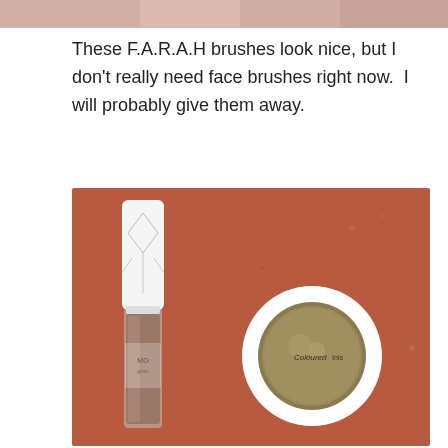[Figure (photo): Top portion of a previous image, showing partial view of colorful products on a pinkish background]
These F.A.R.A.H brushes look nice, but I don't really need face brushes right now.  I will probably give them away.
[Figure (photo): Photo of two makeup products on a reddish-brown surface: a lip gloss tube with white cap featuring geometric diamond/line designs, and a round white compact labeled 'Coloured' containing a golden/bronze eyeshadow]